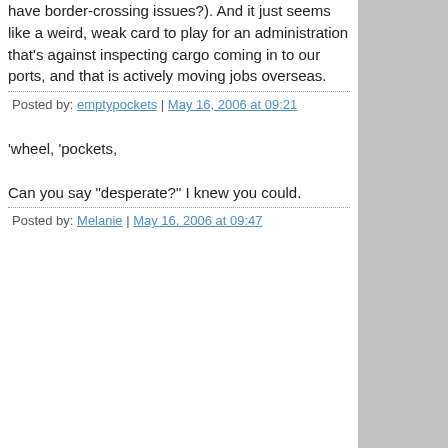have border-crossing issues?). And it just seems like a weird, weak card to play for an administration that's against inspecting cargo coming in to our ports, and that is actively moving jobs overseas.
Posted by: emptypockets | May 16, 2006 at 09:21
'wheel, 'pockets,

Can you say "desperate?" I knew you could.
Posted by: Melanie | May 16, 2006 at 09:47